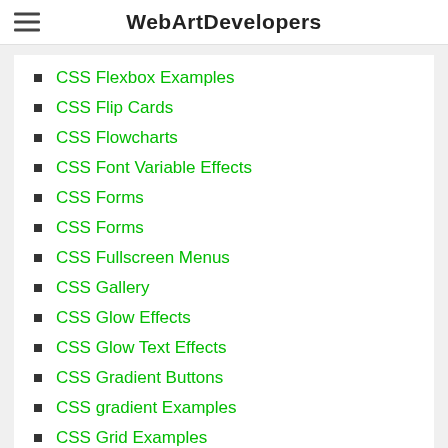WebArtDevelopers
CSS Flexbox Examples
CSS Flip Cards
CSS Flowcharts
CSS Font Variable Effects
CSS Forms
CSS Forms
CSS Fullscreen Menus
CSS Gallery
CSS Glow Effects
CSS Glow Text Effects
CSS Gradient Buttons
CSS gradient Examples
CSS Grid Examples
CSS Hamburger Menu Icons